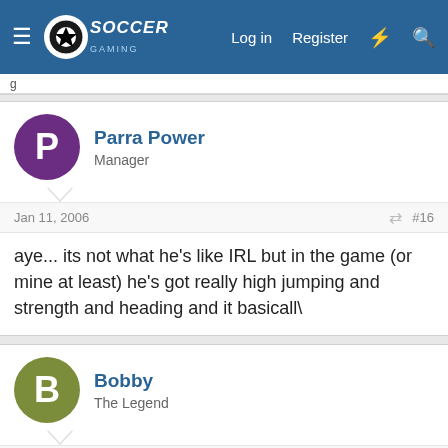Soccer Gaming — Log in  Register
g
Parra Power
Manager
Jan 11, 2006  #16
aye... its not what he's like IRL but in the game (or mine at least) he's got really high jumping and strength and heading and it basicall\
Bobby
The Legend
Jan 11, 2006  #17
trying to buy Zigic, red star are being assos about it tho
So I'm g
tally  Fast credit card payoff  Download Now →  Close X